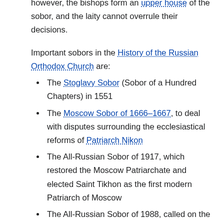however, the bishops form an upper house of the sobor, and the laity cannot overrule their decisions.
Important sobors in the History of the Russian Orthodox Church are:
The Stoglavy Sobor (Sobor of a Hundred Chapters) in 1551
The Moscow Sobor of 1666–1667, to deal with disputes surrounding the ecclesiastical reforms of Patriarch Nikon
The All-Russian Sobor of 1917, which restored the Moscow Patriarchate and elected Saint Tikhon as the first modern Patriarch of Moscow
The All-Russian Sobor of 1988, called on the 1000th anniversary of the Baptism of Rus' to guide the church in the wake of glasnost and